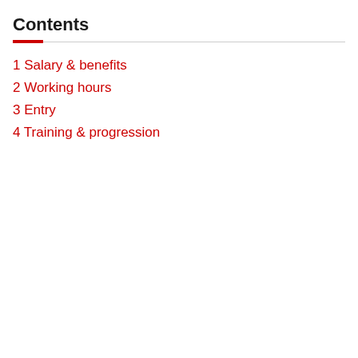Contents
1 Salary & benefits
2 Working hours
3 Entry
4 Training & progression